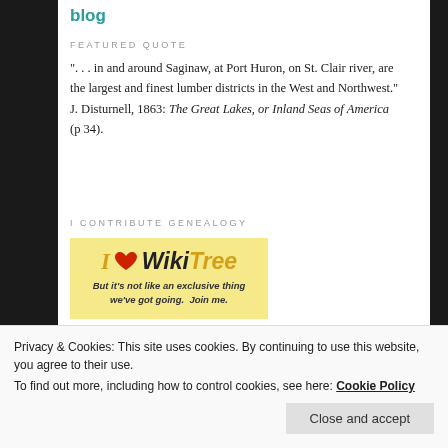blog
FEATURED QUOTE
"...in and around Saginaw, at Port Huron, on St. Clair river, are the largest and finest lumber districts in the West and Northwest." J. Disturnell, 1863: The Great Lakes, or Inland Seas of America (p 34).
I CONTRIBUTE GENEALOGY
[Figure (logo): I Love WikiTree badge on yellow background with text 'But it’s not like an exclusive thing we’ve got going. Join me.']
Privacy & Cookies: This site uses cookies. By continuing to use this website, you agree to their use.
To find out more, including how to control cookies, see here: Cookie Policy